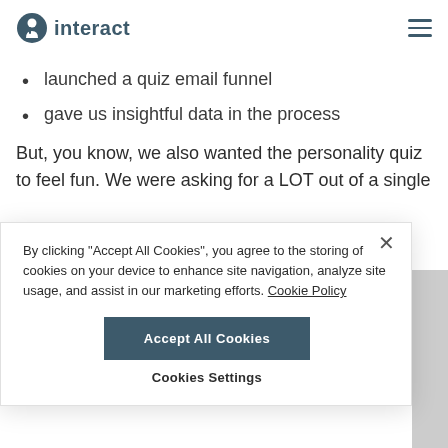interact
launched a quiz email funnel
gave us insightful data in the process
But, you know, we also wanted the personality quiz to feel fun. We were asking for a LOT out of a single
By clicking "Accept All Cookies", you agree to the storing of cookies on your device to enhance site navigation, analyze site usage, and assist in our marketing efforts. Cookie Policy
Accept All Cookies
Cookies Settings